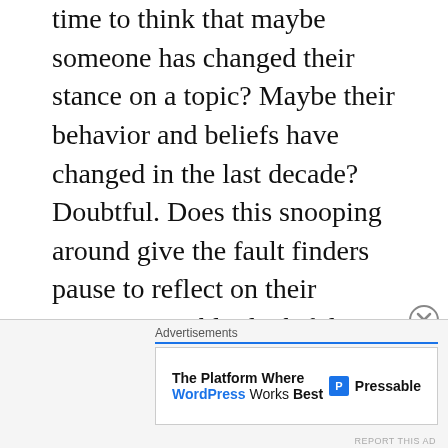time to think that maybe someone has changed their stance on a topic? Maybe their behavior and beliefs have changed in the last decade? Doubtful. Does this snooping around give the fault finders pause to reflect on their actions? Doubly doubtful from what is out there today.
Praise God that He doesn't throw our past in our face. When we accept God's amazing grace and accept Christ, our sins are washed away in the blood of Christ. God will never dox you. God has shown you mercy. God has offered you
[Figure (screenshot): Advertisement banner: 'Advertisements' label above a white banner reading 'The Platform Where WordPress Works Best' with Pressable logo on the right. A close (X) button appears in the top-right corner of the ad area.]